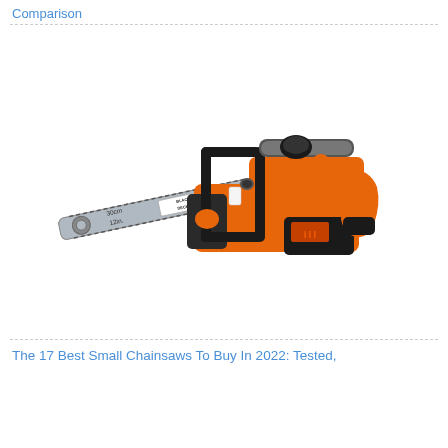Comparison
[Figure (photo): A BLACK+DECKER cordless chainsaw with orange and black body, 30cm/12in. guide bar, shown at an angle against a white background.]
The 17 Best Small Chainsaws To Buy In 2022: Tested,